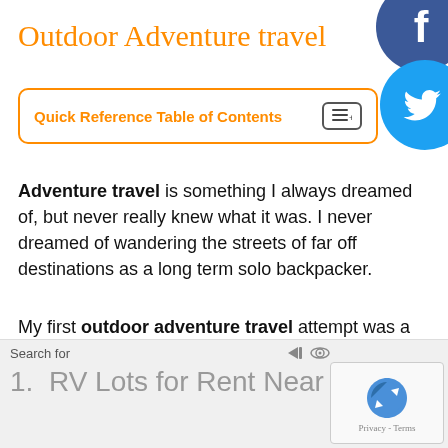Outdoor Adventure travel
Quick Reference Table of Contents
Adventure travel is something I always dreamed of, but never really knew what it was. I never dreamed of wandering the streets of far off destinations as a long term solo backpacker.
My first outdoor adventure travel attempt was a solo adventure of kayaking the entire 2,500 miles of the Mississippi River. From Minnesota to New Orleans. Eventually I found the courage to backpack down
Search for
1.  RV Lots for Rent Near Me